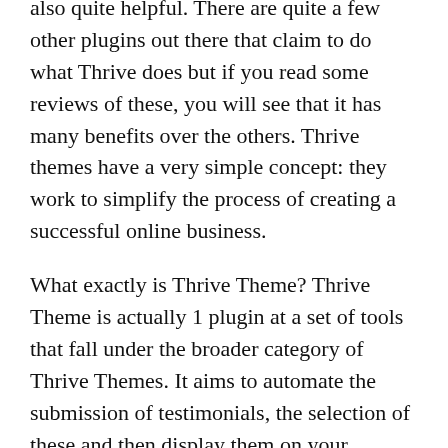also quite helpful. There are quite a few other plugins out there that claim to do what Thrive does but if you read some reviews of these, you will see that it has many benefits over the others. Thrive themes have a very simple concept: they work to simplify the process of creating a successful online business.
What exactly is Thrive Theme? Thrive Theme is actually 1 plugin at a set of tools that fall under the broader category of Thrive Themes. It aims to automate the submission of testimonials, the selection of these and then display them on your website as a single page. If you're interested in promoting your products or services through the web, then you should really consider using Thrive Theme. As it will help you with just this job, you will no longer need to devote time,